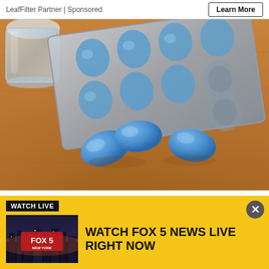LeafFilter Partner | Sponsored
[Figure (photo): Blue pills/tablets on a wooden surface next to a blister pack, with a glass of water in the upper left corner.]
Revealed: 47 States Where Men Qualify for
[Figure (screenshot): Fox 5 News Live overlay banner with yellow background showing 'WATCH LIVE' tag, Fox 5 New York thumbnail image, and text 'WATCH FOX 5 NEWS LIVE RIGHT NOW' with a close button.]